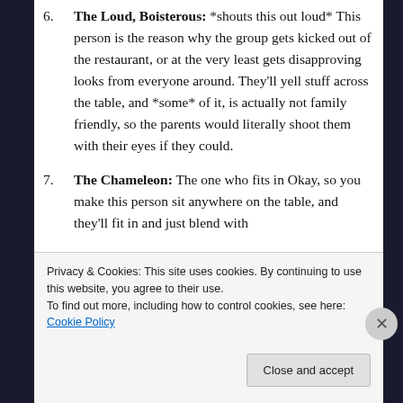6. The Loud, Boisterous: *shouts this out loud* This person is the reason why the group gets kicked out of the restaurant, or at the very least gets disapproving looks from everyone around. They'll yell stuff across the table, and *some* of it, is actually not family friendly, so the parents would literally shoot them with their eyes if they could.
7. The Chameleon: The one who fits in Okay, so you make this person sit anywhere on the table, and they'll fit in and just blend with
Privacy & Cookies: This site uses cookies. By continuing to use this website, you agree to their use.
To find out more, including how to control cookies, see here: Cookie Policy